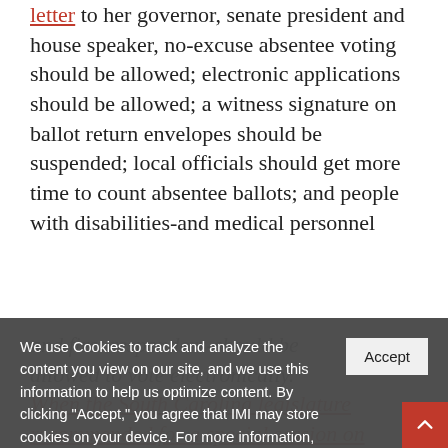letter to her governor, senate president and house speaker, no-excuse absentee voting should be allowed; electronic applications should be allowed; a witness signature on ballot return envelopes should be suspended; local officials should get more time to count absentee ballots; and people with disabilities-and medical personnel
and first responders-should be allowed to vote electronically. When the South Carolina legislature recommended for a special session on April 6, they "took no action on providing any additional authority or
We use Cookies to track and analyze the content you view on our site, and we use this information to help us optimize content. By clicking "Accept," you agree that IMI may store cookies on your device. For more information, read our Cookie Policy.